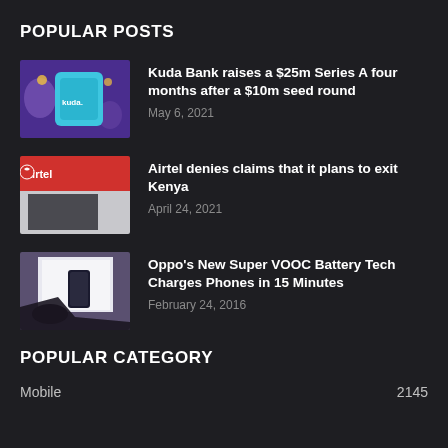POPULAR POSTS
Kuda Bank raises a $25m Series A four months after a $10m seed round
May 6, 2021
Airtel denies claims that it plans to exit Kenya
April 24, 2021
Oppo's New Super VOOC Battery Tech Charges Phones in 15 Minutes
February 24, 2016
POPULAR CATEGORY
Mobile	2145